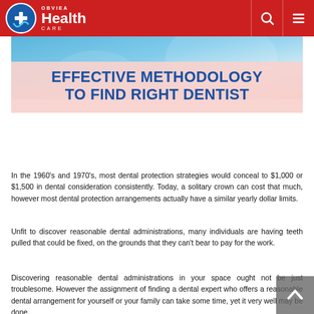OBVIEA Health Care
[Figure (photo): Dental/healthcare themed hero image with blue and pink tones, showing a dental care scene]
EFFECTIVE METHODOLOGY TO FIND RIGHT DENTIST
In the 1960's and 1970's, most dental protection strategies would conceal to $1,000 or $1,500 in dental consideration consistently. Today, a solitary crown can cost that much, however most dental protection arrangements actually have a similar yearly dollar limits.
Unfit to discover reasonable dental administrations, many individuals are having teeth pulled that could be fixed, on the grounds that they can't bear to pay for the work.
Discovering reasonable dental administrations in your space ought not be just troublesome. However the assignment of finding a dental expert who offers a reasonable dental arrangement for yourself or your family can take some time, yet it very well may be done.